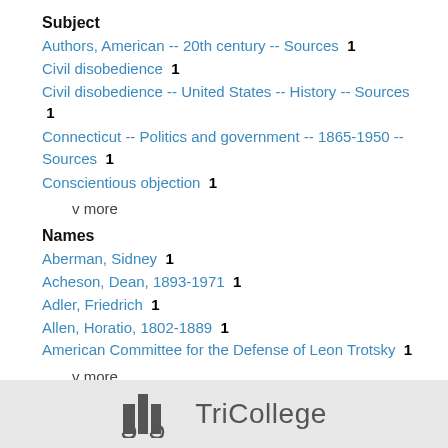Subject
Authors, American -- 20th century -- Sources  1
Civil disobedience  1
Civil disobedience -- United States -- History -- Sources  1
Connecticut -- Politics and government -- 1865-1950 -- Sources  1
Conscientious objection  1
v more
Names
Aberman, Sidney  1
Acheson, Dean, 1893-1971  1
Adler, Friedrich  1
Allen, Horatio, 1802-1889  1
American Committee for the Defense of Leon Trotsky  1
v more
[Figure (logo): TriCollege logo with icon of stacked bars/columns and text 'TriCollege']